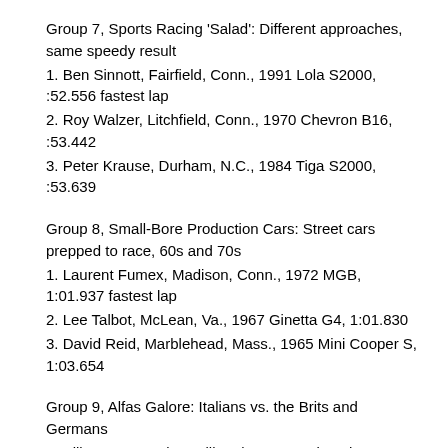Group 7, Sports Racing ‘Salad’: Different approaches, same speedy result
1. Ben Sinnott, Fairfield, Conn., 1991 Lola S2000, :52.556 fastest lap
2. Roy Walzer, Litchfield, Conn., 1970 Chevron B16, :53.442
3. Peter Krause, Durham, N.C., 1984 Tiga S2000, :53.639
Group 8, Small-Bore Production Cars: Street cars prepped to race, 60s and 70s
1. Laurent Fumex, Madison, Conn., 1972 MGB, 1:01.937 fastest lap
2. Lee Talbot, McLean, Va., 1967 Ginetta G4, 1:01.830
3. David Reid, Marblehead, Mass., 1965 Mini Cooper S, 1:03.654
Group 9, Alfas Galore: Italians vs. the Brits and Germans
1. Bill Warner, Jacksonville, Fla., 1971 Triumph TR6, 1:00.009 fastest lap